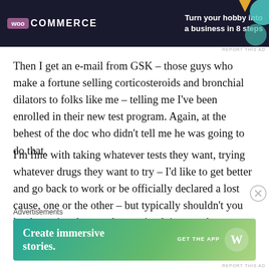[Figure (other): WooCommerce advertisement banner: dark navy background with WooCommerce logo, text 'Turn your hobby into a business in 8 steps', colorful abstract shapes on right]
REPORT THIS AD
Then I get an e-mail from GSK – those guys who make a fortune selling corticosteroids and bronchial dilators to folks like me – telling me I've been enrolled in their new test program. Again, at the behest of the doc who didn't tell me he was going to do that.
I'm fine with taking whatever tests they want, trying whatever drugs they want to try – I'd like to get better and go back to work or be officially declared a lost cause, one or the other – but typically shouldn't you let the patient know what you're doing or what you expect of them?
Advertisements
[Figure (other): WordPress advertisement: gradient teal/green background with text 'Create immersive stories.' GET THE APP with WordPress logo circle]
REPORT THIS AD